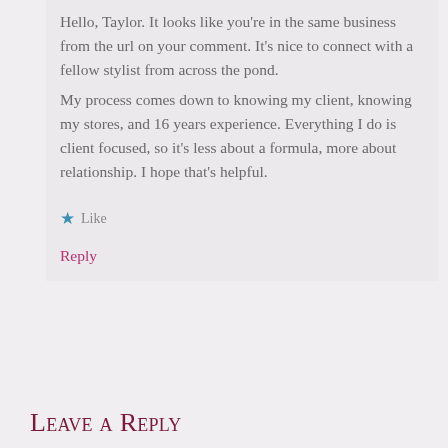Hello, Taylor. It looks like you're in the same business from the url on your comment. It's nice to connect with a fellow stylist from across the pond.
My process comes down to knowing my client, knowing my stores, and 16 years experience. Everything I do is client focused, so it's less about a formula, more about relationship. I hope that's helpful.
★ Like
Reply
Leave a Reply